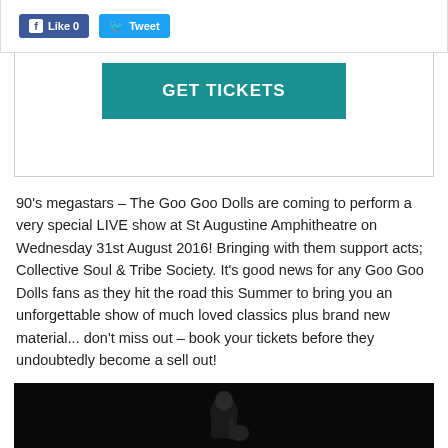[Figure (screenshot): Social media buttons: Facebook Like (0) and Twitter Tweet]
[Figure (screenshot): Teal GET TICKETS button]
90's megastars – The Goo Goo Dolls are coming to perform a very special LIVE show at St Augustine Amphitheatre on Wednesday 31st August 2016! Bringing with them support acts; Collective Soul & Tribe Society. It's good news for any Goo Goo Dolls fans as they hit the road this Summer to bring you an unforgettable show of much loved classics plus brand new material... don't miss out – book your tickets before they undoubtedly become a sell out!
[Figure (photo): Black and white photo of a guitarist performing on stage with dramatic lighting from above]